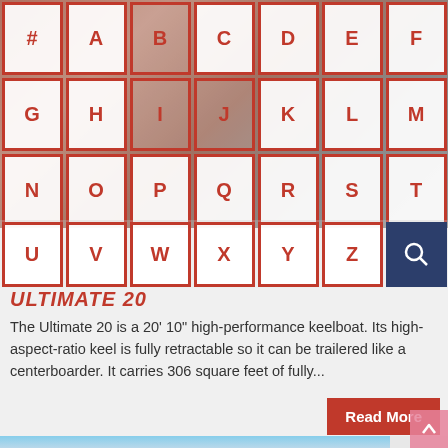[Figure (screenshot): Alphabetical navigation grid with letters #, A-Z and a search icon button, overlaid on a sailing background image. Four rows: Row1: #,A,B,C,D,E,F; Row2: G,H,I,J,K,L,M; Row3: N,O,P,Q,R,S,T; Row4: U,V,W,X,Y,Z,Search]
ULTIMATE 20
The Ultimate 20 is a 20' 10" high-performance keelboat. Its high-aspect-ratio keel is fully retractable so it can be trailered like a centerboarder. It carries 306 square feet of fully...
Read More
October 2, 2018
[Figure (photo): Partial view of sailing boats on blue sky background, bottom of page]